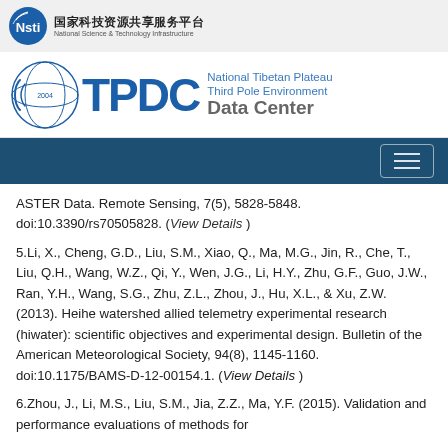[Figure (logo): NSTI (National Science and Technology Infrastructure) logo with Chinese text 国家科技资源共享服务平台]
[Figure (logo): TPDC National Tibetan Plateau Third Pole Environment Data Center logo]
ASTER Data. Remote Sensing, 7(5), 5828-5848. doi:10.3390/rs70505828. (View Details)
5.Li, X., Cheng, G.D., Liu, S.M., Xiao, Q., Ma, M.G., Jin, R., Che, T., Liu, Q.H., Wang, W.Z., Qi, Y., Wen, J.G., Li, H.Y., Zhu, G.F., Guo, J.W., Ran, Y.H., Wang, S.G., Zhu, Z.L., Zhou, J., Hu, X.L., & Xu, Z.W. (2013). Heihe watershed allied telemetry experimental research (hiwater): scientific objectives and experimental design. Bulletin of the American Meteorological Society, 94(8), 1145-1160. doi:10.1175/BAMS-D-12-00154.1. (View Details)
6.Zhou, J., Li, M.S., Liu, S.M., Jia, Z.Z., Ma, Y.F. (2015). Validation and performance evaluations of methods for